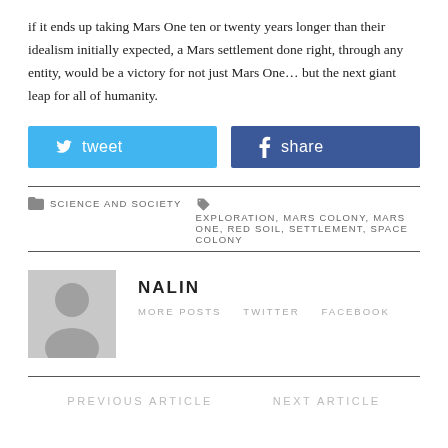if it ends up taking Mars One ten or twenty years longer than their idealism initially expected, a Mars settlement done right, through any entity, would be a victory for not just Mars One… but the next giant leap for all of humanity.
[Figure (infographic): Social sharing buttons: Twitter tweet button and Facebook share button]
SCIENCE AND SOCIETY · EXPLORATION, MARS COLONY, MARS ONE, RED SOIL, SETTLEMENT, SPACE COLONY
[Figure (photo): Author avatar placeholder image - grey silhouette of a person]
NALIN
MORE POSTS   TWITTER   FACEBOOK
PREVIOUS ARTICLE   NEXT ARTICLE